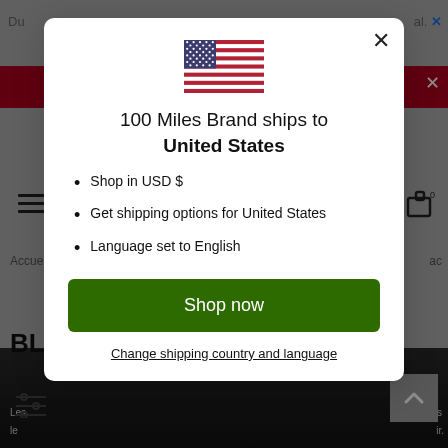[Figure (screenshot): Modal dialog overlay on a website. Shows a US flag, text '100 Miles Brand ships to United States', bullet points: 'Shop in USD $', 'Get shipping options for United States', 'Language set to English', a green 'Shop now' button, and a 'Change shipping country and language' link. Background shows partial website content with red banner, hamburger menu, and page content.]
100 Miles Brand ships to United States
Shop in USD $
Get shipping options for United States
Language set to English
Shop now
Change shipping country and language